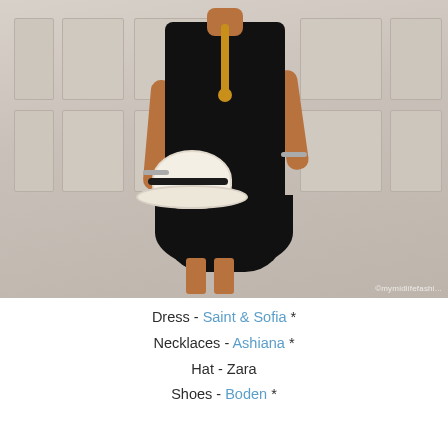[Figure (photo): A woman wearing a black sleeveless tiered midi dress, gold necklaces, silver bracelets, holding a white Panama hat with black band at her side. She stands in front of white paneled doors. Watermark reads ©mymidlifefashi... in bottom right.]
Dress - Saint & Sofia *
Necklaces - Ashiana *
Hat - Zara
Shoes - Boden *